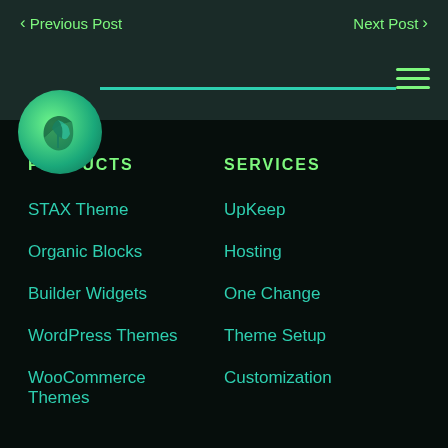< Previous Post    Next Post >
[Figure (logo): Green leaf logo circle with hamburger menu icon and horizontal teal line]
PRODUCTS
STAX Theme
Organic Blocks
Builder Widgets
WordPress Themes
WooCommerce Themes
SERVICES
UpKeep
Hosting
One Change
Theme Setup
Customization